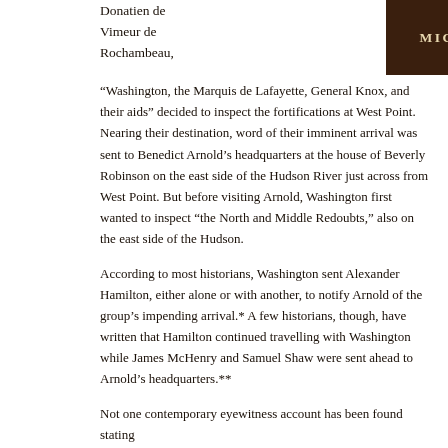Donatien de Vimeur de Rochambeau,
MICHAEL E. NEWTON
“Washington, the Marquis de Lafayette, General Knox, and their aids” decided to inspect the fortifications at West Point. Nearing their destination, word of their imminent arrival was sent to Benedict Arnold’s headquarters at the house of Beverly Robinson on the east side of the Hudson River just across from West Point. But before visiting Arnold, Washington first wanted to inspect “the North and Middle Redoubts,” also on the east side of the Hudson.
According to most historians, Washington sent Alexander Hamilton, either alone or with another, to notify Arnold of the group’s impending arrival.* A few historians, though, have written that Hamilton continued travelling with Washington while James McHenry and Samuel Shaw were sent ahead to Arnold’s headquarters.**
Not one contemporary eyewitness account has been found stating